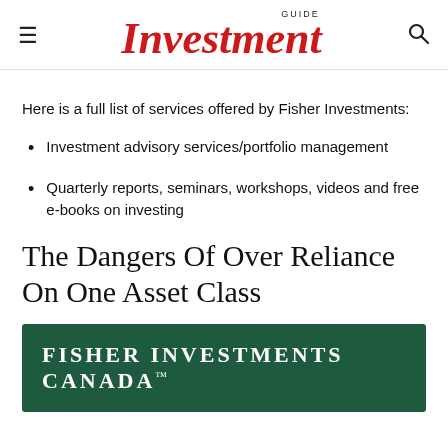GUIDE Investment
Here is a full list of services offered by Fisher Investments:
Investment advisory services/portfolio management
Quarterly reports, seminars, workshops, videos and free e-books on investing
The Dangers Of Over Reliance On One Asset Class
[Figure (logo): Fisher Investments Canada logo on dark green background]